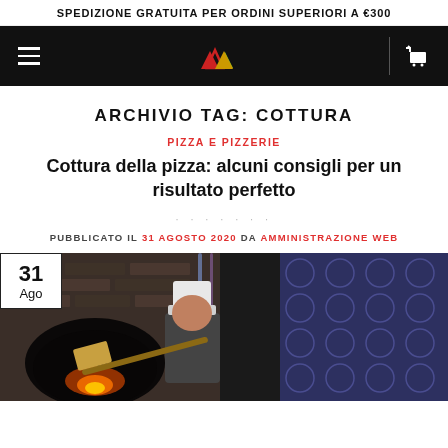SPEDIZIONE GRATUITA PER ORDINI SUPERIORI A €300
[Figure (logo): Navigation bar with hamburger menu, brand logo (two triangles, red and green/yellow), and cart icon on black background]
ARCHIVIO TAG: COTTURA
PIZZA E PIZZERIE
Cottura della pizza: alcuni consigli per un risultato perfetto
PUBBLICATO IL 31 AGOSTO 2020 DA AMMINISTRAZIONE WEB
[Figure (photo): A pizza chef in a white hat using a pizza peel at a wood-fired oven in a restaurant, with decorative tiled wall in background. Date badge shows '31 Ago' in top-left corner.]